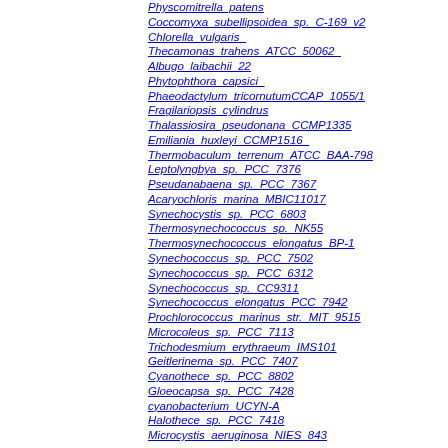Physcomitrella patens
Coccomyxa subellipsoidea sp. C-169 v2
Chlorella vulgaris_
Thecamonas trahens ATCC 50062_
Albugo laibachii 22
Phytophthora capsici_
Phaeodactylum tricornutumCCAP 1055/1
Fragilariopsis cylindrus
Thalassiosira pseudonana CCMP1335
Emiliania huxleyi CCMP1516_
Thermobaculum terrenum ATCC BAA-798
Leptolyngbya sp. PCC 7376
Pseudanabaena sp. PCC 7367
Acaryochloris marina MBIC11017
Synechocystis sp. PCC 6803
Thermosynechococcus sp. NK55
Thermosynechococcus elongatus BP-1
Synechococcus sp. PCC 7502
Synechococcus sp. PCC 6312
Synechococcus sp. CC9311
Synechococcus elongatus PCC 7942
Prochlorococcus marinus str. MIT 9515
Microcoleus sp. PCC 7113
Trichodesmium erythraeum IMS101
Geitlerinema sp. PCC 7407
Cyanothece sp. PCC 8802
Gloeocapsa sp. PCC 7428
cyanobacterium UCYN-A
Halothece sp. PCC 7418
Microcystis aeruginosa NIES 843